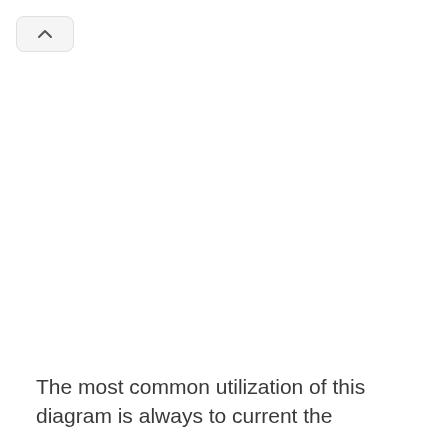^
The most common utilization of this diagram is always to current the